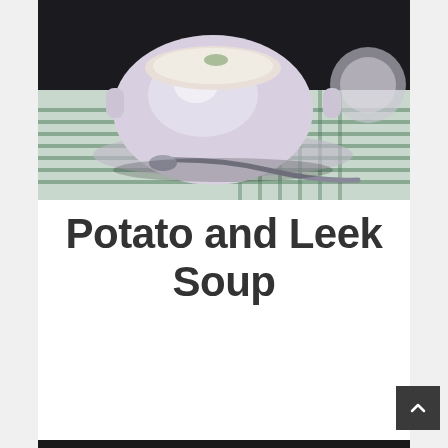[Figure (photo): A white ceramic soup bowl with handles filled with creamy soup, garnished with herbs, sitting on a green and white striped cloth napkin with a silver spoon beside it, on a dark background.]
Potato and Leek Soup